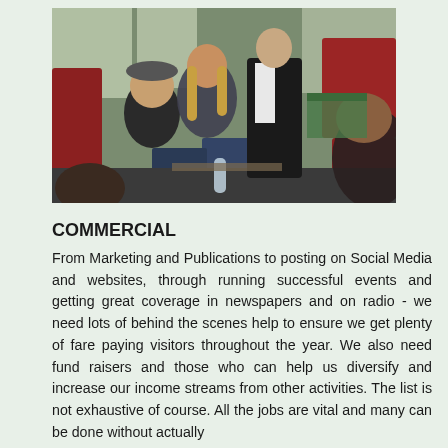[Figure (photo): A photograph taken inside a train carriage. Several young passengers are seated on red seats. A train conductor/guard in a black waistcoat and white shirt is standing and attending to passengers. There is a water bottle and snacks on the table. The scene appears to be a heritage or community railway.]
COMMERCIAL
From Marketing and Publications to posting on Social Media and websites, through running successful events and getting great coverage in newspapers and on radio - we need lots of behind the scenes help to ensure we get plenty of fare paying visitors throughout the year. We also need fund raisers and those who can help us diversify and increase our income streams from other activities. The list is not exhaustive of course. All the jobs are vital and many can be done without actually